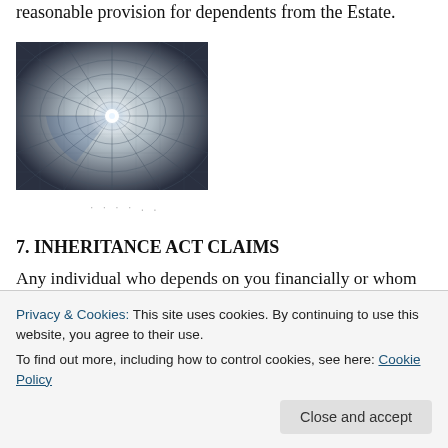reasonable provision for dependents from the Estate.
[Figure (photo): Abstract architectural/structural photograph showing a radial pattern, possibly a glass ceiling or metal dome viewed from below, with geometric mesh pattern and bright central light.]
· · · · . .
7. INHERITANCE ACT CLAIMS
Any individual who depends on you financially or whom you have maintained at the time of your death may have a claim against your estate if you have not left them anything in your Will or made no other financial
properly provided for in a Will when you should have
Privacy & Cookies: This site uses cookies. By continuing to use this website, you agree to their use.
To find out more, including how to control cookies, see here: Cookie Policy